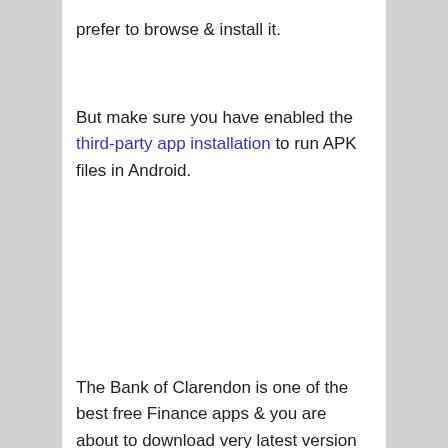prefer to browse & install it.
But make sure you have enabled the third-party app installation to run APK files in Android.
The Bank of Clarendon is one of the best free Finance apps & you are about to download very latest version of